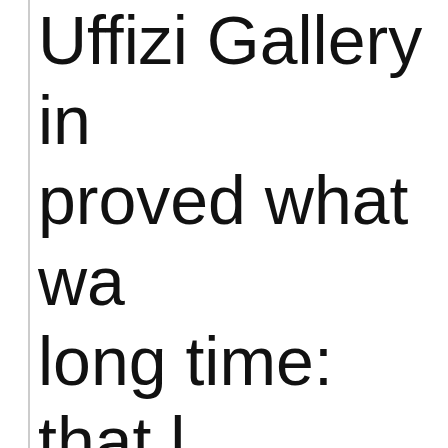Uffizi Gallery in proved what was long time: that Leonardo Da Vinci write, draw and hands.
The museum's restoration insti